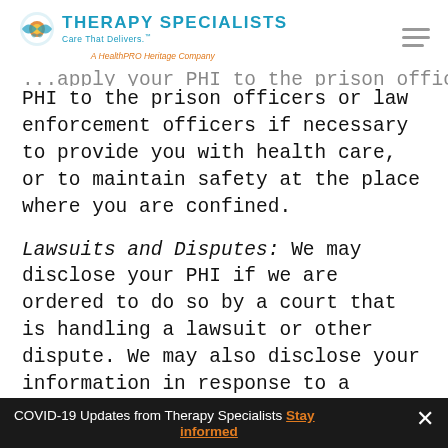Therapy Specialists — Care That Delivers. A HealthPRO Heritage Company
PHI to the prison officers or law enforcement officers if necessary to provide you with health care, or to maintain safety at the place where you are confined.
Lawsuits and Disputes: We may disclose your PHI if we are ordered to do so by a court that is handling a lawsuit or other dispute. We may also disclose your information in response to a subpoena, discovery request, or other lawful request by someone else involved in the dispute,
COVID-19 Updates from Therapy Specialists Stay informed